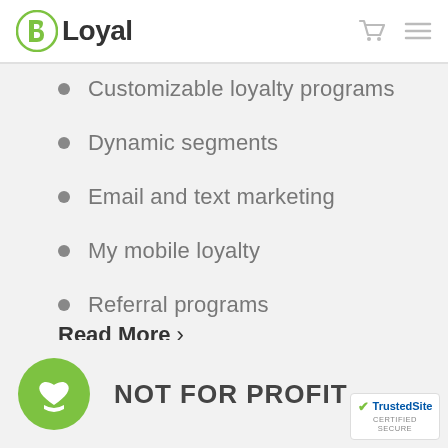bLoyal
Customizable loyalty programs
Dynamic segments
Email and text marketing
My mobile loyalty
Referral programs
Read More ›
NOT FOR PROFIT